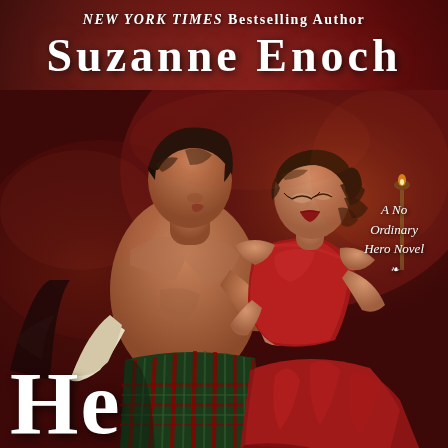NEW YORK TIMES Bestselling Author
SUZANNE ENOCH
[Figure (illustration): Romance novel book cover showing a shirtless man in a Scottish tartan kilt embracing a woman in a red off-shoulder dress, against a dark red atmospheric background with candles]
A No Ordinary Hero Novel
He